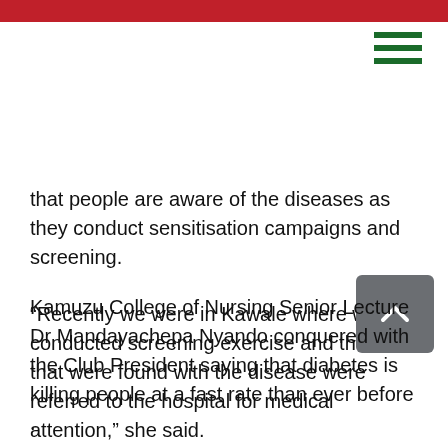that people are aware of the diseases as they conduct sensitisation campaigns and screening.
“Recently we were in Kawale where we conducted screening exercise and those that were found with the disease were referred to the hospital for medical attention,” she said.
She therefore urged people to go for screening fre as this helps to receive medical attention in time.
Kamuzu College of Nursing Senior Lecture Dr Mandayachepa Nyando conquered with the Club President saying that diabetes is killing people at a fast rate than ever before .